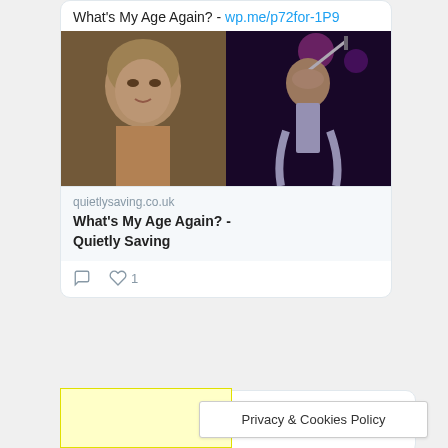What's My Age Again? - wp.me/p72for-1P9
[Figure (screenshot): Two side-by-side images: left shows an older woman with short hair in a TV setting; right shows a performer on stage in a sparkly outfit]
quietlysaving.co.uk
What's My Age Again? - Quietly Saving
♡ 1
weenie @... · Jul 31